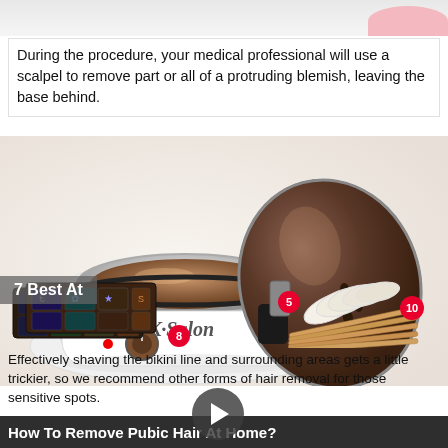[Figure (photo): Partial top image of a pink/coral colored object, likely a cosmetic product, on white background]
During the procedure, your medical professional will use a scalpel to remove part or all of a protruding blemish, leaving the base behind.
[Figure (photo): K-Salon wax warmer device with brown lid open, showing melted wax inside a silver bowl on white base with temperature knob, overlaid with '7 Best At' label and a video play button]
[Figure (photo): Wax accessories: two packets of wax beans (labeled 8), wax strips (labeled 5), and wooden applicator sticks (labeled 10)]
Effectively shaving the bikini line and surrounding areas gets a little trickier, so we recommend other forms of hair removal for those sensitive spots.
How To Remove Pubic Hair At Home?